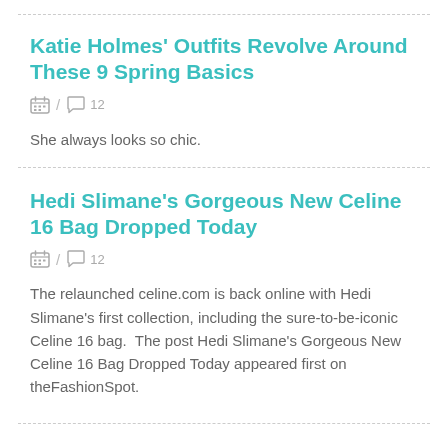Katie Holmes' Outfits Revolve Around These 9 Spring Basics
She always looks so chic.
Hedi Slimane's Gorgeous New Celine 16 Bag Dropped Today
The relaunched celine.com is back online with Hedi Slimane's first collection, including the sure-to-be-iconic Celine 16 bag.  The post Hedi Slimane's Gorgeous New Celine 16 Bag Dropped Today appeared first on theFashionSpot.